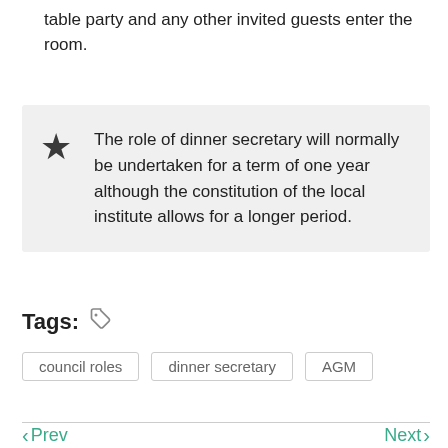table party and any other invited guests enter the room.
The role of dinner secretary will normally be undertaken for a term of one year although the constitution of the local institute allows for a longer period.
Tags:
council roles
dinner secretary
AGM
< Prev   Next >